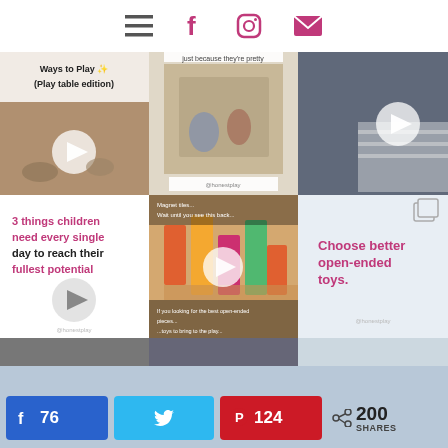☰  f  ◻  ✉
[Figure (screenshot): Instagram grid of 6 posts about children's play and toys. Top row: 3 video thumbnails. Bottom row: text post '3 things children need every single day to reach their fullest potential', video of colorful blocks, text post 'Choose better open-ended toys.']
[Figure (screenshot): Social share bar with Facebook 76, Twitter share button, Pinterest 124, and 200 SHARES]
76  |  Twitter share  |  124  |  < 200 SHARES